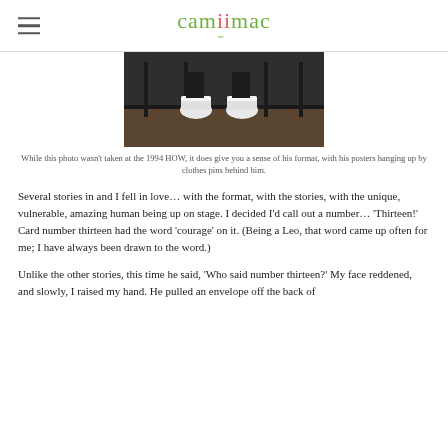camiimac
[Figure (photo): Partial photo showing white sneakers on a stage with chairs in the background, dark background.]
While this photo wasn't taken at the 1994 HOW, it does give you a sense of his format, with his posters hanging up by clothes pins behind him.
Several stories in and I fell in love… with the format, with the stories, with the unique, vulnerable, amazing human being up on stage. I decided I'd call out a number… 'Thirteen!' Card number thirteen had the word 'courage' on it. (Being a Leo, that word came up often for me; I have always been drawn to the word.)
Unlike the other stories, this time he said, 'Who said number thirteen?' My face reddened, and slowly, I raised my hand. He pulled an envelope off the back of